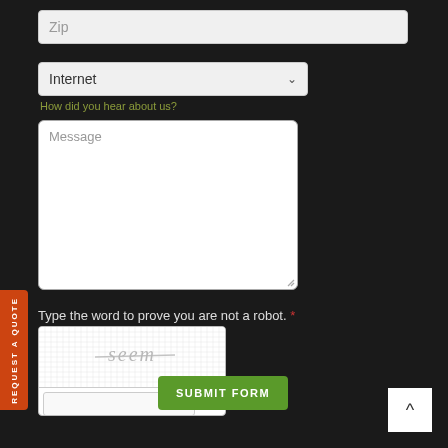Zip
Internet
How did you hear about us?
Message
Type the word to prove you are not a robot. *
[Figure (other): CAPTCHA widget with grid-patterned image showing the word 'seem' with strikethrough, and a text input field with a refresh button]
SUBMIT FORM
REQUEST A QUOTE